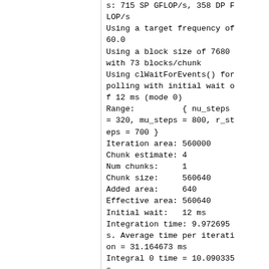s: 715 SP GFLOP/s, 358 DP FLOP/s
Using a target frequency of 60.0
Using a block size of 7680 with 73 blocks/chunk
Using clWaitForEvents() for polling with initial wait of 12 ms (mode 0)
Range:          { nu_steps = 320, mu_steps = 800, r_steps = 700 }
Iteration area: 560000
Chunk estimate: 4
Num chunks:     1
Chunk size:     560640
Added area:     640
Effective area: 560640
Initial wait:   12 ms
Integration time: 9.972695 s. Average time per iteration = 31.164673 ms
Integral 0 time = 10.090335 s
Running iterator with 000